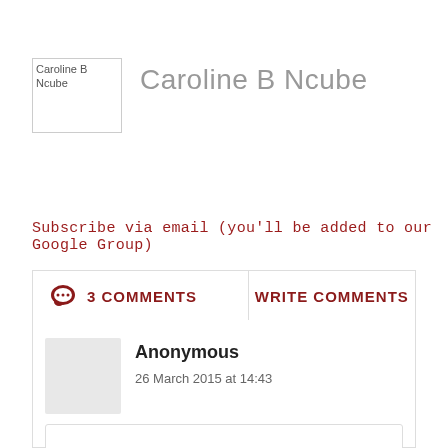[Figure (photo): Avatar placeholder image for Caroline B Ncube, showing broken image icon with alt text]
Caroline B Ncube
Subscribe via email (you'll be added to our Google Group)
3 COMMENTS
WRITE COMMENTS
Anonymous
26 March 2015 at 14:43